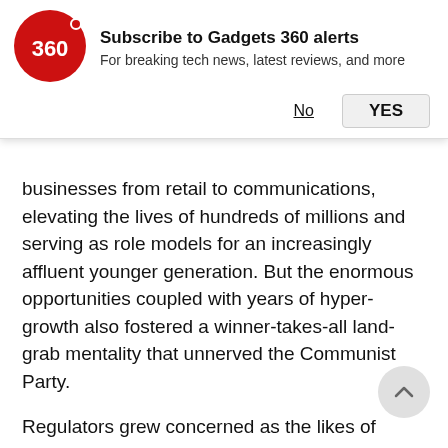[Figure (logo): Gadgets 360 logo - red circle with '360' text in white]
Subscribe to Gadgets 360 alerts
For breaking tech news, latest reviews, and more
No   YES
businesses from retail to communications, elevating the lives of hundreds of millions and serving as role models for an increasingly affluent younger generation. But the enormous opportunities coupled with years of hyper-growth also fostered a winner-takes-all land-grab mentality that unnerved the Communist Party.
Regulators grew concerned as the likes of Alibaba and Tencent aggressively safeguarded and extended their moats, using data to squeeze out rivals or forcing merchants and content publishers into exclusive arrangements. Their growing influence over every aspect of Chinese life became more apparent as they